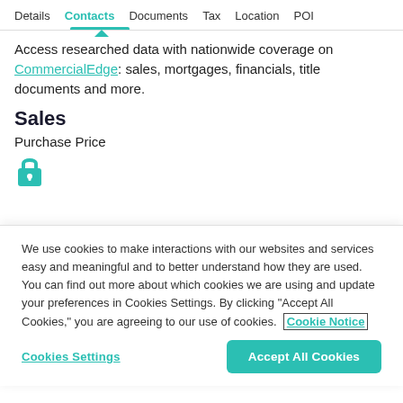Details  Contacts  Documents  Tax  Location  POI
Access researched data with nationwide coverage on CommercialEdge: sales, mortgages, financials, title documents and more.
Sales
Purchase Price
[Figure (illustration): Teal lock icon indicating locked/gated content]
We use cookies to make interactions with our websites and services easy and meaningful and to better understand how they are used. You can find out more about which cookies we are using and update your preferences in Cookies Settings. By clicking "Accept All Cookies," you are agreeing to our use of cookies.  Cookie Notice
Cookies Settings
Accept All Cookies